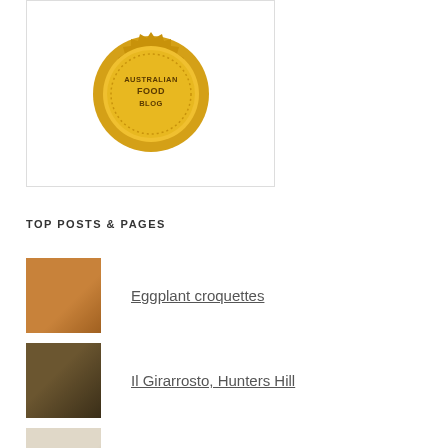[Figure (logo): Australian Food Blog badge - gold seal with text AUSTRALIAN FOOD BLOG]
TOP POSTS & PAGES
Eggplant croquettes
Il Girarrosto, Hunters Hill
Neil's Three Milk Cake
Biscotti al latte (Italian milk biscuits)
Mercato e Cucina, Gladesville